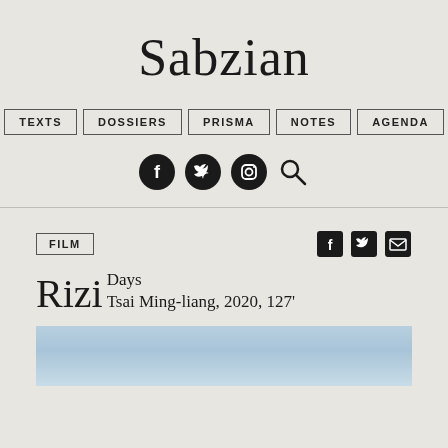Sabzian
TEXTS | DOSSIERS | PRISMA | NOTES | AGENDA
FILM
Rizi
Days
Tsai Ming-liang, 2020, 127'
[Figure (photo): Still image from the film Rizi, showing a light blue sky or water scene]